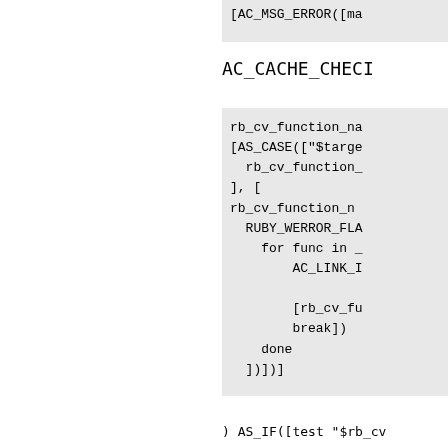[AC_MSG_ERROR([ma
AC_CACHE_CHECI
rb_cv_function_na
[AS_CASE(["$targe
  rb_cv_function_
], [
rb_cv_function_n
  RUBY_WERROR_FLA
    for func in _
        AC_LINK_I

        [rb_cv_fu
        break])
    done
  ])])]
) AS_IF([test "$rb_cv